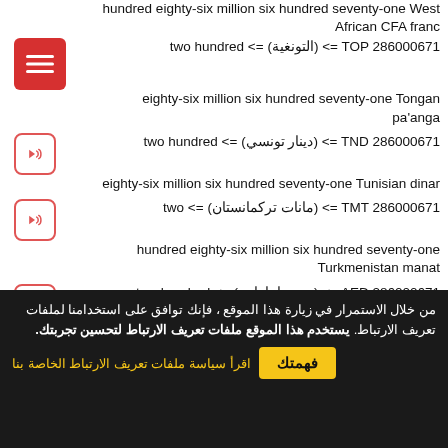hundred eighty-six million six hundred seventy-one West African CFA franc
two hundred <= (التونغية) <= TOP 286000671 eighty-six million six hundred seventy-one Tongan pa'anga
two hundred <= (دينار تونسي) <= TND 286000671 eighty-six million six hundred seventy-one Tunisian dinar
two <= (مانات تركمانستان) <= TMT 286000671 hundred eighty-six million six hundred seventy-one Turkmenistan manat
two hundred <= (درهم إماراتي) <= AED 286000671 eighty-six million six hundred seventy-one United Arab
من خلال الاستمرار في زيارة هذا الموقع ، فإنك توافق على استخدامنا لملفات تعريف الارتباط. يستخدم هذا الموقع ملفات تعريف الارتباط لتحسين تجربتك.
اقرأ سياسة ملفات تعريف الارتباط الخاصة بنا
فهمتك